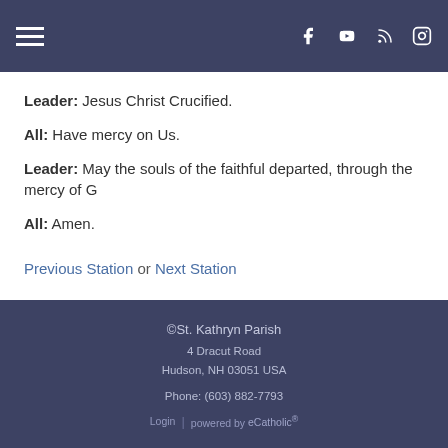Navigation bar with hamburger menu and social icons (Facebook, YouTube, RSS, Instagram)
Leader: Jesus Christ Crucified.
All: Have mercy on Us.
Leader: May the souls of the faithful departed, through the mercy of G...
All: Amen.
Previous Station or Next Station
©St. Kathryn Parish
4 Dracut Road
Hudson, NH 03051 USA
Phone: (603) 882-7793
Login | powered by eCatholic®